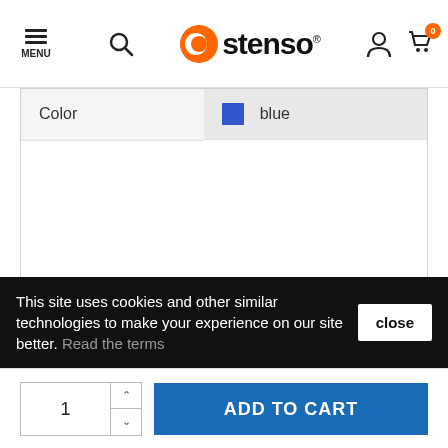MENU | Stenso logo | search | user | cart (0)
| Color | blue |
| --- | --- |
| Color | blue |
CUSTOMERS WHO BOUGHT THIS PRODUCT ALSO BOUGHT:
This site uses cookies and other similar technologies to make your experience on our site better. Read the terms
BGN90.40
1 ADD TO CART